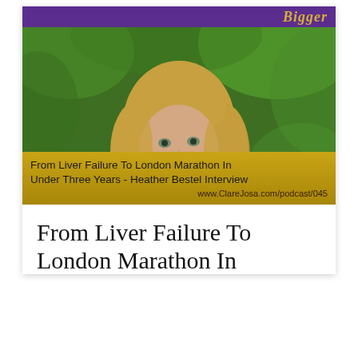[Figure (photo): Podcast episode cover image with purple banner at top showing stylized text, a photo of a smiling blonde woman outdoors with green leafy background, and a gold bar at the bottom with episode title text and URL]
From Liver Failure To London Marathon In Under Three Years - Heather Bestel Interview
www.ClareJosa.com/podcast/045
From Liver Failure To London Marathon In